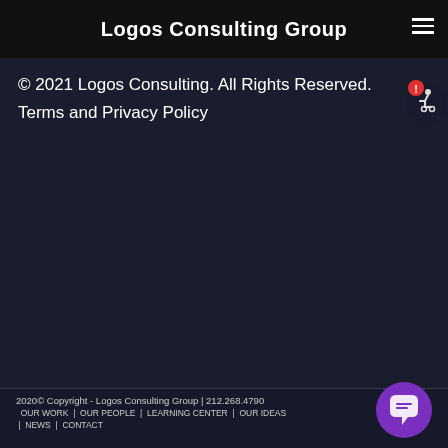Logos Consulting Group
© 2021 Logos Consulting. All Rights Reserved.
Terms and Privacy Policy
[Figure (illustration): Accessibility widget icon with red exclamation mark and wheelchair user symbol]
2020© Copyright - Logos Consulting Group | 212.268.4790
OUR WORK  |  OUR PEOPLE  |  LEARNING CENTER  |  OUR IDEAS  |  NEWS  |  CONTACT
[Figure (illustration): Purple chat bubble button in bottom right corner]